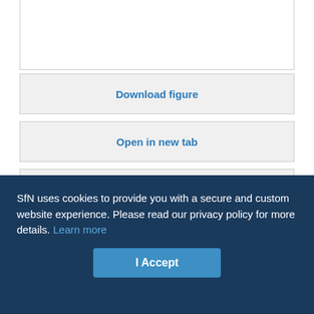[Figure (other): Top portion of a scientific figure (partially visible, cropped at top of page)]
Download figure
Open in new tab
Download powerpoint
Fig. 6. Extracellular calcium is necessary for LTP induction. The initial slope of the EPSP is plotted against time. At the time indicated, extracellular Ca2+ was removed from the perfusing Ringer's solution, leading to a rapid block of synaptic transmission. A tetanus (2 × 100 Hz, 1 sec) was then delivered (T1). Reapplication of Ca2+ allowed LTP to be subsequently induced. A second...
SfN uses cookies to provide you with a secure and custom website experience. Please read our privacy policy for more details. Learn more
I Accept